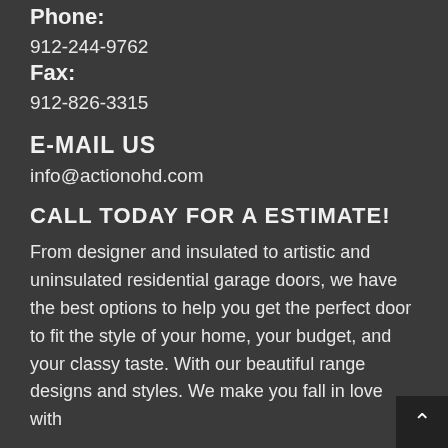Phone:
912-244-9762
Fax:
912-826-3315
E-MAIL US
info@actionohd.com
CALL TODAY FOR A ESTIMATE!
From designer and insulated to artistic and uninsulated residential garage doors, we have the best options to help you get the perfect door to fit the style of your home, your budget, and your classy taste. With our beautiful range designs and styles. We make you fall in love with